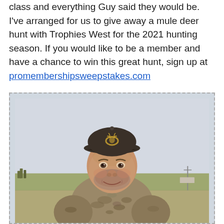class and everything Guy said they would be. I've arranged for us to give away a mule deer hunt with Trophies West for the 2021 hunting season. If you would like to be a member and have a chance to win this great hunt, sign up at promembershipsweepstakes.com
[Figure (photo): A middle-aged man wearing camouflage jacket and a dark baseball cap with a Browning logo, smiling at the camera outdoors with an overcast sky and flat rural landscape in the background.]